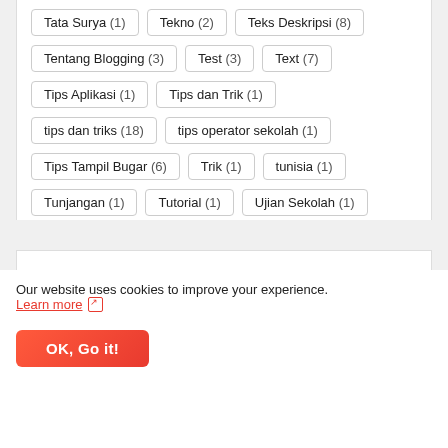Tata Surya (1)  Tekno (2)  Teks Deskripsi (8)
Tentang Blogging (3)  Test (3)  Text (7)
Tips Aplikasi (1)  Tips dan Trik (1)
tips dan triks (18)  tips operator sekolah (1)
Tips Tampil Bugar (6)  Trik (1)  tunisia (1)
Tunjangan (1)  Tutorial (1)  Ujian Sekolah (1)
Umum (3)  UN (2)  Universitas (2)
USBN (1)  vicon (1)  Wirid dan Dzikir (1)
Our website uses cookies to improve your experience. Learn more
OK, Go it!